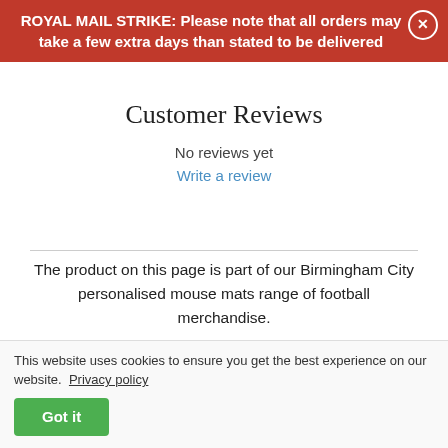ROYAL MAIL STRIKE: Please note that all orders may take a few extra days than stated to be delivered
Customer Reviews
No reviews yet
Write a review
The product on this page is part of our Birmingham City personalised mouse mats range of football merchandise.
Click here to see our full range of official
personalised football products for all teams
Or click here to see just the products for your favourite football club
This website uses cookies to ensure you get the best experience on our website. Privacy policy